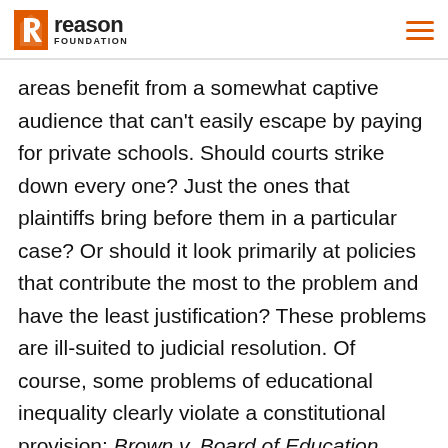Reason Foundation
areas benefit from a somewhat captive audience that can't easily escape by paying for private schools. Should courts strike down every one? Just the ones that plaintiffs bring before them in a particular case? Or should it look primarily at policies that contribute the most to the problem and have the least justification? These problems are ill-suited to judicial resolution. Of course, some problems of educational inequality clearly violate a constitutional provision: Brown v. Board of Education (1954) is an obvious example. But the further one gets from intentional discrimination and the closer one gets to ingrained, systemic problems, the more carefully judges should tread